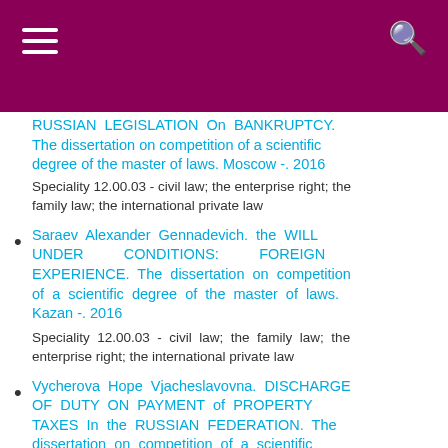RUSSIAN LEGISLATION On BANKRUPTCY. The dissertation on competition of a scientific degree of the master of laws. Moscow -. 2016
Speciality 12.00.03 - civil law; the enterprise right; the family law; the international private law
Saraev Alexander Gennadevich. the WILL UNDER CONDITIONS: FOREIGN EXPERIENCE. The dissertation on competition of a scientific degree of the master of laws. Kazan -. 2016
Speciality 12.00.03 - civil law; the family law; the enterprise right; the international private law
Vycherova Hope Vjacheslavovna. DISCHARGE OF DUTY ON PAYMENT of PROPERTY TAXES In the RUSSIAN FEDERATION. The dissertation on competition of a scientific